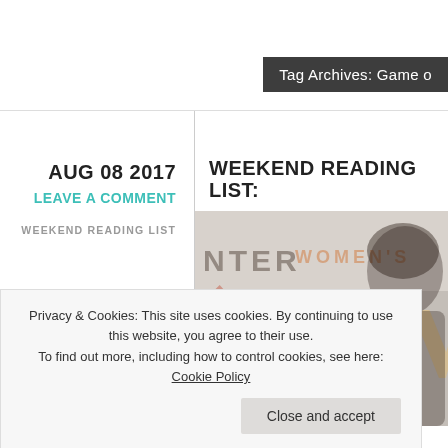Tag Archives: Game o
AUG 08 2017
LEAVE A COMMENT
WEEKEND READING LIST
WEEKEND READING LIST:
[Figure (photo): Photo of a woman at a center backdrop with text 'NTER' and 'WOMEN'S' visible, with a large 'W' letter mark.]
Privacy & Cookies: This site uses cookies. By continuing to use this website, you agree to their use.
To find out more, including how to control cookies, see here: Cookie Policy
Close and accept